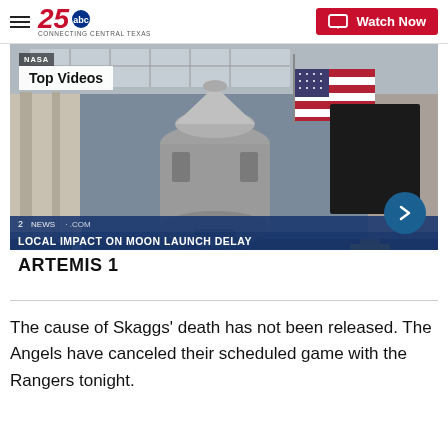25 ABC - CONNECTING CENTRAL TEXAS | Watch Now
[Figure (screenshot): NASA facility video thumbnail showing Artemis 1 spacecraft in a large hangar with American flag. Overlaid text: 'Top Videos', 'NASA', 'LOCAL IMPACT ON MOON LAUNCH DELAY', 'ARTEMIS 1']
The cause of Skaggs' death has not been released. The Angels have canceled their scheduled game with the Rangers tonight.